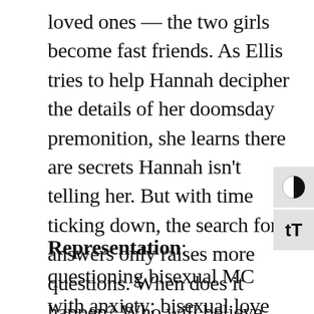loved ones — the two girls become fast friends. As Ellis tries to help Hannah decipher the details of her doomsday premonition, she learns there are secrets Hannah isn't telling her. But with time ticking down, the search for answers only raises more questions. When does it happen? Who will believe them? How do you prepare for the end of the world when it feels like your life is just getting started?
Representation: questioning bisexual MC with anxiety; bisexual love interest.